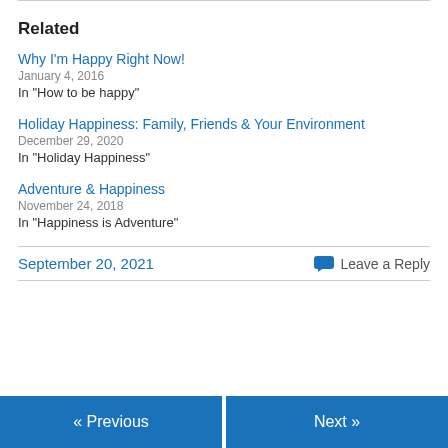Related
Why I'm Happy Right Now!
January 4, 2016
In "How to be happy"
Holiday Happiness: Family, Friends & Your Environment
December 29, 2020
In "Holiday Happiness"
Adventure & Happiness
November 24, 2018
In "Happiness is Adventure"
September 20, 2021
Leave a Reply
« Previous    Next »